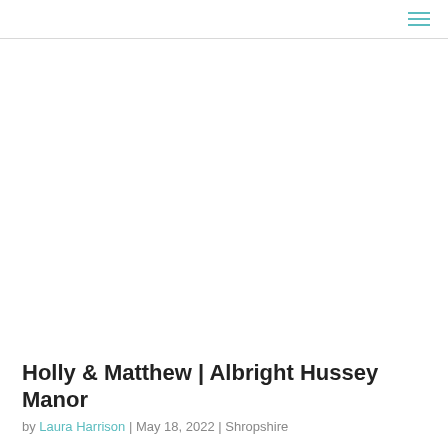Holly & Matthew | Albright Hussey Manor
by Laura Harrison | May 18, 2022 | Shropshire